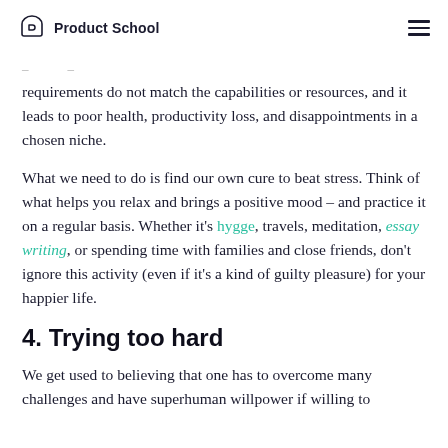Product School
requirements do not match the capabilities or resources, and it leads to poor health, productivity loss, and disappointments in a chosen niche.
What we need to do is find our own cure to beat stress. Think of what helps you relax and brings a positive mood – and practice it on a regular basis. Whether it's hygge, travels, meditation, essay writing, or spending time with families and close friends, don't ignore this activity (even if it's a kind of guilty pleasure) for your happier life.
4. Trying too hard
We get used to believing that one has to overcome many challenges and have superhuman willpower if willing to